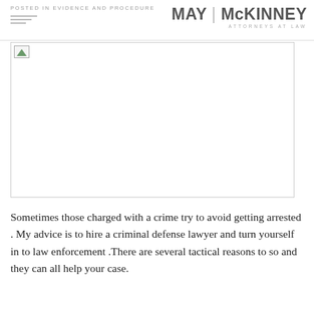POSTED IN EVIDENCE AND PROCEDURE
[Figure (logo): May McKinney Attorneys at Law logo]
[Figure (photo): Large image placeholder (broken/unloaded image)]
Sometimes those charged with a crime try to avoid getting arrested . My advice is to hire a criminal defense lawyer and turn yourself in to law enforcement .There are several tactical reasons to so and they can all help your case.